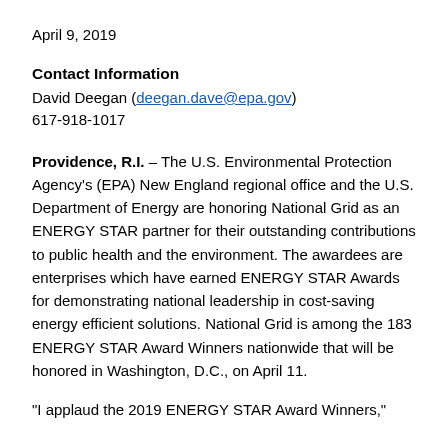April 9, 2019
Contact Information
David Deegan (deegan.dave@epa.gov)
617-918-1017
Providence, R.I. – The U.S. Environmental Protection Agency's (EPA) New England regional office and the U.S. Department of Energy are honoring National Grid as an ENERGY STAR partner for their outstanding contributions to public health and the environment. The awardees are enterprises which have earned ENERGY STAR Awards for demonstrating national leadership in cost-saving energy efficient solutions. National Grid is among the 183 ENERGY STAR Award Winners nationwide that will be honored in Washington, D.C., on April 11.
"I applaud the 2019 ENERGY STAR Award Winners,"